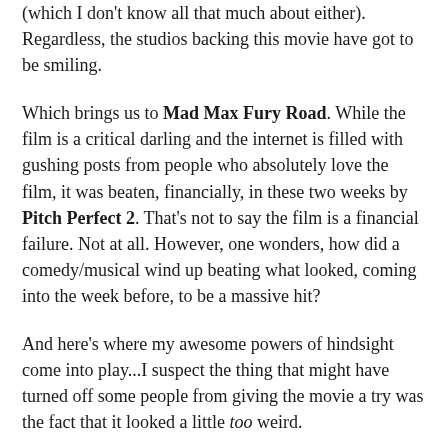(which I don't know all that much about either). Regardless, the studios backing this movie have got to be smiling.
Which brings us to Mad Max Fury Road. While the film is a critical darling and the internet is filled with gushing posts from people who absolutely love the film, it was beaten, financially, in these two weeks by Pitch Perfect 2. That's not to say the film is a financial failure. Not at all. However, one wonders, how did a comedy/musical wind up beating what looked, coming into the week before, to be a massive hit?
And here's where my awesome powers of hindsight come into play...I suspect the thing that might have turned off some people from giving the movie a try was the fact that it looked a little too weird.
There's a place for weird cinema but with the large summer audiences, one has to be careful to not go too far and potentially alienate these same audiences. My wife was